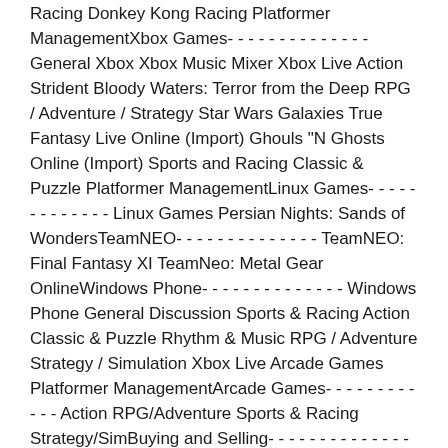Racing Donkey Kong Racing Platformer ManagementXbox Games- - - - - - - - - - - - - - General Xbox Xbox Music Mixer Xbox Live Action Strident Bloody Waters: Terror from the Deep RPG / Adventure / Strategy Star Wars Galaxies True Fantasy Live Online (Import) Ghouls "N Ghosts Online (Import) Sports and Racing Classic & Puzzle Platformer ManagementLinux Games- - - - - - - - - - - - - Linux Games Persian Nights: Sands of WondersTeamNEO- - - - - - - - - - - - - - TeamNEO: Final Fantasy XI TeamNeo: Metal Gear OnlineWindows Phone- - - - - - - - - - - - - - Windows Phone General Discussion Sports & Racing Action Classic & Puzzle Rhythm & Music RPG / Adventure Strategy / Simulation Xbox Live Arcade Games Platformer ManagementArcade Games- - - - - - - - - - - - Action RPG/Adventure Sports & Racing Strategy/SimBuying and Selling- - - - - - - - - - - - - - For Sale / Trade Sellers and Buyers Member